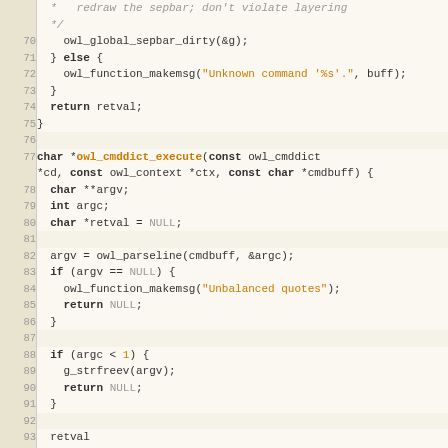[Figure (screenshot): Source code viewer showing C code lines 69-98 for owl_cmddict_execute functions. Line numbers on left in beige column, code on right with syntax highlighting: keywords in bold dark, strings in orange, null/keywords in gray.]